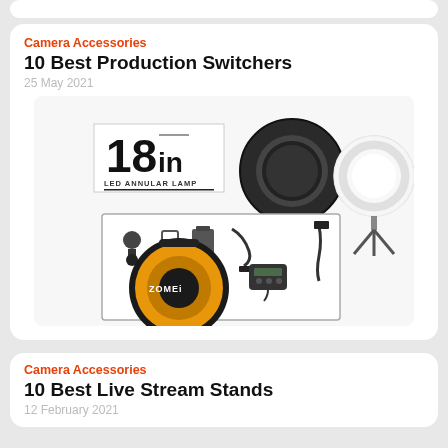Camera Accessories
10 Best Production Switchers
25 May 2021
[Figure (photo): 18in LED Annular Lamp ring light product photo showing two ring lights, accessories, carrying case with Zomei branding, and a tripod stand]
Camera Accessories
10 Best Live Stream Stands
12 February 2021